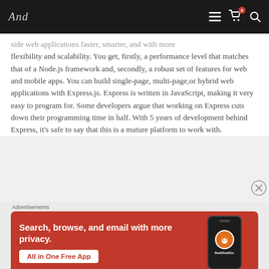And [logo] | navigation bar with cart (0) and search icons
side web applications faster, smarter, and with more flexibility and scalability. You get, firstly, a performance level that matches that of a Node.js framework and, secondly, a robust set of features for web and mobile apps. You can build single-page, multi-page,or hybrid web applications with Express.js. Express is written in JavaScript, making it very easy to program for. Some developers argue that working on Express cuts down their programming time in half. With 5 years of development behind Express, it's safe to say that this is a mature platform to work with.
[Figure (infographic): DuckDuckGo advertisement banner with orange/red background showing 'Search, browse, and email with more privacy. All in One Free App' text with a phone mockup showing DuckDuckGo logo]
Advertisements